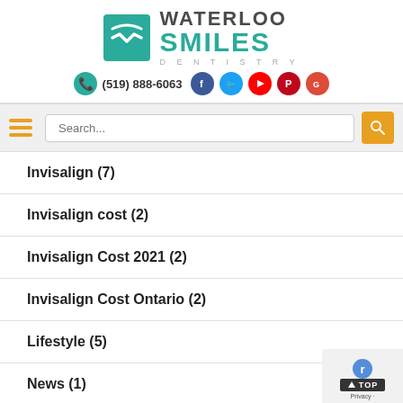[Figure (logo): Waterloo Smiles Dentistry logo with teal W icon, dark text WATERLOO, teal text SMILES, grey spaced DENTISTRY below]
(519) 888-6063
[Figure (infographic): Social media icons: phone (teal), Facebook (blue), Twitter (light blue), YouTube (red), Pinterest (red), Google (red-orange)]
[Figure (screenshot): Navigation bar with hamburger menu (orange) and search box with orange search button]
Invisalign (7)
Invisalign cost (2)
Invisalign Cost 2021 (2)
Invisalign Cost Ontario (2)
Lifestyle (5)
News (1)
Oracare (2)